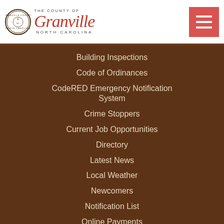[Figure (logo): Granville County North Carolina logo with circular seal and stylized script text]
Building Inspections
Code of Ordinances
CodeRED Emergency Notification System
Crime Stoppers
Current Job Opportunities
Directory
Latest News
Local Weather
Newcomers
Notification List
Online Payments
Rental Facilities